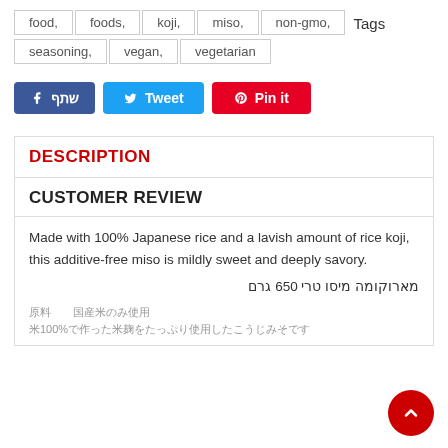food,   foods,   koji,   miso,   non-gmo,   Tags   seasoning,   vegan,   vegetarian
שתף  Tweet  Pin it
DESCRIPTION
CUSTOMER REVIEW
Made with 100% Japanese rice and a lavish amount of rice koji, this additive-free miso is mildly sweet and deeply savory.
מארוקומה מיסו טרי 650 גרם
原料　　国産米のみ使用
米100%で作った米麹をたっぷり使用したこうじみそです